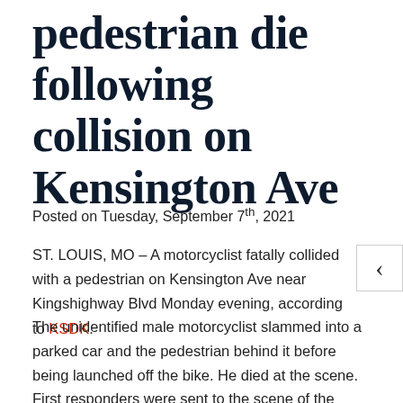pedestrian die following collision on Kensington Ave
Posted on Tuesday, September 7th, 2021
ST. LOUIS, MO – A motorcyclist fatally collided with a pedestrian on Kensington Ave near Kingshighway Blvd Monday evening, according to KSDK.
The unidentified male motorcyclist slammed into a parked car and the pedestrian behind it before being launched off the bike. He died at the scene.
First responders were sent to the scene of the accident